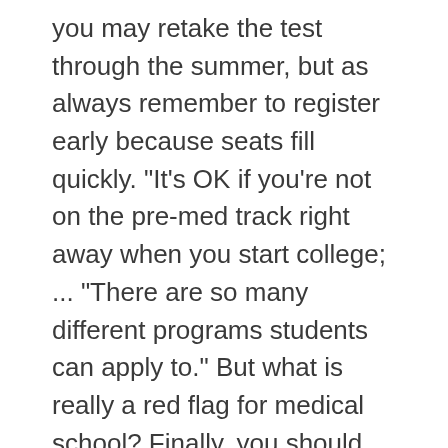you may retake the test through the summer, but as always remember to register early because seats fill quickly. "It's OK if you're not on the pre-med track right away when you start college; ... "There are so many different programs students can apply to." But what is really a red flag for medical school? Finally, you should prepare for the Medical College Admission Test (MCAT). What to do each month of the 2020-2021 application cycle to ensure timely and high-quality materials to help maximize your odds of getting accepted. How do you explain bad grades in the medical school interview? Begin a health care related volunteer program, job, or internship. Kai can provide tips and support as